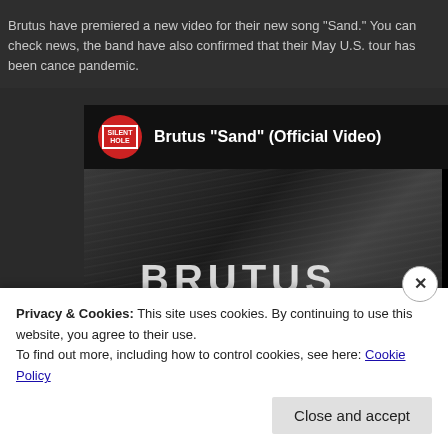Brutus have premiered a new video for their new song "Sand." You can check news, the band have also confirmed that their May U.S. tour has been cance pandemic.
[Figure (screenshot): Embedded YouTube video player showing Brutus 'Sand' (Official Video). The thumbnail is a black and white image of a person with long hair and a microphone, with 'BRUTUS' and 'SAND' overlaid in large bold white text. A red YouTube play button is centered on the thumbnail. The video header shows a red circular channel logo with white text and the title 'Brutus "Sand" (Official Video)' in white on a dark background.]
Privacy & Cookies: This site uses cookies. By continuing to use this website, you agree to their use.
To find out more, including how to control cookies, see here: Cookie Policy
Close and accept